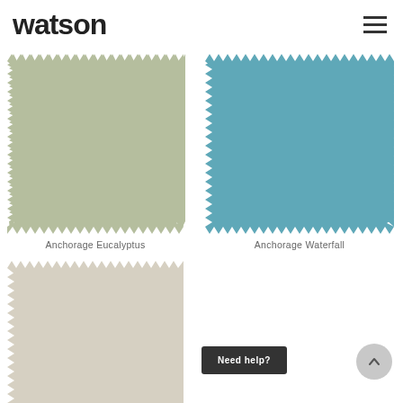watson
[Figure (illustration): Fabric swatch with zigzag edges, sage/eucalyptus green color]
Anchorage Eucalyptus
[Figure (illustration): Fabric swatch with zigzag edges, teal/waterfall blue color]
Anchorage Waterfall
[Figure (illustration): Fabric swatch with zigzag edges, light beige/linen color, partially visible]
Need help?